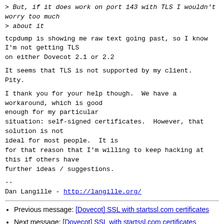> But, if it does work on port 143 with TLS I wouldn't worry too much
> about it
tcpdump is showing me raw text going past, so I know I'm not getting TLS
on either Dovecot 2.1 or 2.2
It seems that TLS is not supported by my client.  Pity.
I thank you for your help though.  We have a workaround, which is good
enough for my particular
situation: self-signed certificates.  However, that solution is not
ideal for most people.  It is
for that reason that I'm willing to keep hacking at this if others have
further ideas / suggestions.
--
Dan Langille - http://langille.org/
Previous message: [Dovecot] SSL with startssl.com certificates
Next message: [Dovecot] SSL with startssl.com certificates
Messages sorted by: [ date ] [ thread ] [ subject ] [ author ]